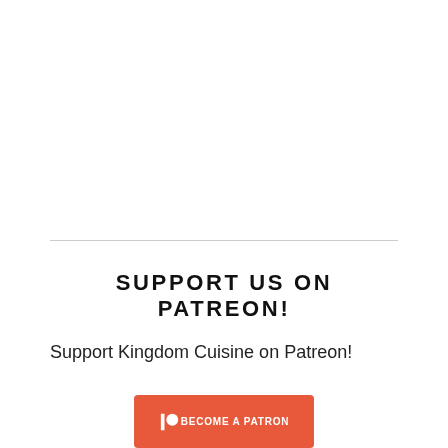SUPPORT US ON PATREON!
Support Kingdom Cuisine on Patreon!
[Figure (logo): Patreon 'Become a Patron' orange button with Patreon logo icon]